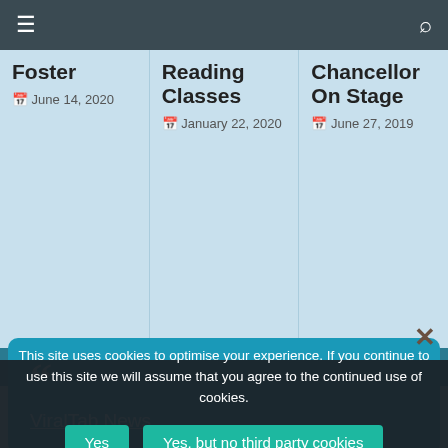Navigation bar with hamburger menu and search icon
Foster — June 14, 2020
Reading Classes — January 22, 2020
Chancellor On Stage — June 27, 2019
[Figure (screenshot): Social share popup with quote mark icon and ViralTab News link, with close X button]
Today | Week | Month | All Time
No results available
This site uses cookies to optimise your experience. If you continue to use this site we will assume that you agree to the continued use of cookies.
Yes | Yes, but no third party cookies